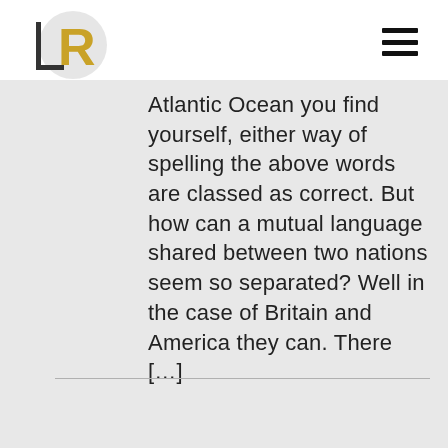LR logo and navigation
Atlantic Ocean you find yourself, either way of spelling the above words are classed as correct. But how can a mutual language shared between two nations seem so separated? Well in the case of Britain and America they can. There […]